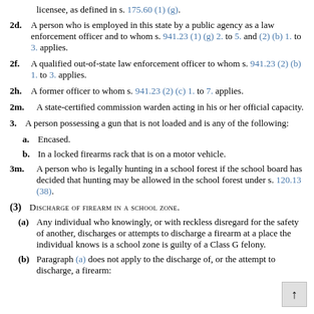licensee, as defined in s. 175.60 (1) (g).
2d. A person who is employed in this state by a public agency as a law enforcement officer and to whom s. 941.23 (1) (g) 2. to 5. and (2) (b) 1. to 3. applies.
2f. A qualified out-of-state law enforcement officer to whom s. 941.23 (2) (b) 1. to 3. applies.
2h. A former officer to whom s. 941.23 (2) (c) 1. to 7. applies.
2m. A state-certified commission warden acting in his or her official capacity.
3. A person possessing a gun that is not loaded and is any of the following:
a. Encased.
b. In a locked firearms rack that is on a motor vehicle.
3m. A person who is legally hunting in a school forest if the school board has decided that hunting may be allowed in the school forest under s. 120.13 (38).
(3) DISCHARGE OF FIREARM IN A SCHOOL ZONE.
(a) Any individual who knowingly, or with reckless disregard for the safety of another, discharges or attempts to discharge a firearm at a place the individual knows is a school zone is guilty of a Class G felony.
(b) Paragraph (a) does not apply to the discharge of, or the attempt to discharge, a firearm: